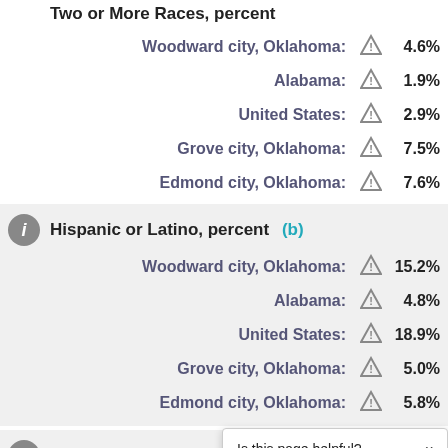Two or More Races, percent
Woodward city, Oklahoma: ⚠ 4.6%
Alabama: ⚠ 1.9%
United States: ⚠ 2.9%
Grove city, Oklahoma: ⚠ 7.5%
Edmond city, Oklahoma: ⚠ 7.6%
Hispanic or Latino, percent (b)
Woodward city, Oklahoma: ⚠ 15.2%
Alabama: ⚠ 4.8%
United States: ⚠ 18.9%
Grove city, Oklahoma: ⚠ 5.0%
Edmond city, Oklahoma: ⚠ 5.8%
White alone, not Hispanic or Latino, percent
Woodward city, Oklahoma:
Is this page helpful? Yes No